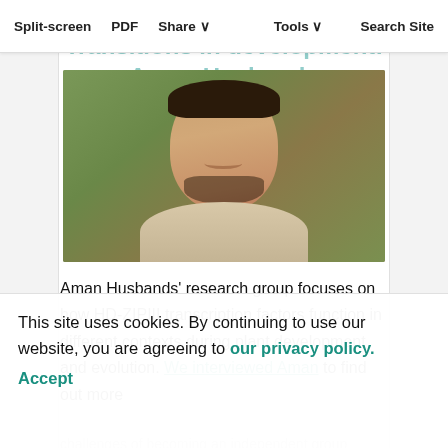Split-screen  PDF  Share  Tools  Search Site
Transitions in development: Aman Husbands
[Figure (photo): Portrait photo of Aman Husbands, a young man smiling, wearing a light-colored shirt, with green foliage in the background.]
Aman Husbands' research group focuses on how HD-ZIPIII transcription factors function in different contexts during plant development and evolution. We interviewed Aman to find out more
challenges of becoming an independent group leader.
This site uses cookies. By continuing to use our website, you are agreeing to our privacy policy. Accept